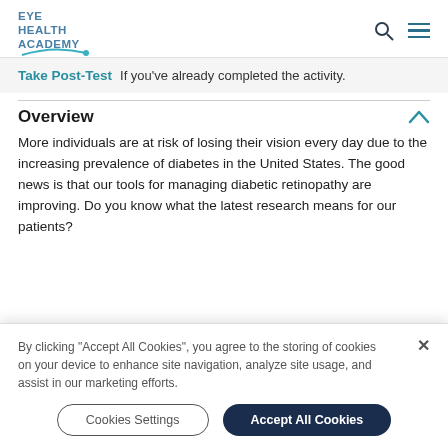EYE HEALTH ACADEMY
Take Post-Test  If you've already completed the activity.
Overview
More individuals are at risk of losing their vision every day due to the increasing prevalence of diabetes in the United States. The good news is that our tools for managing diabetic retinopathy are improving. Do you know what the latest research means for our patients?
By clicking "Accept All Cookies", you agree to the storing of cookies on your device to enhance site navigation, analyze site usage, and assist in our marketing efforts.
Cookies Settings
Accept All Cookies